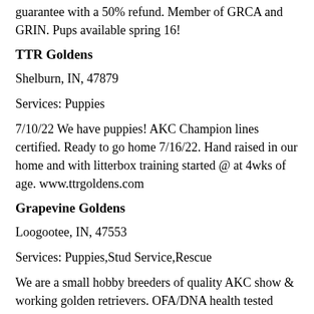guarantee with a 50% refund. Member of GRCA and GRIN. Pups available spring 16!
TTR Goldens
Shelburn, IN, 47879
Services: Puppies
7/10/22 We have puppies! AKC Champion lines certified. Ready to go home 7/16/22. Hand raised in our home and with litterbox training started @ at 4wks of age. www.ttrgoldens.com
Grapevine Goldens
Loogootee, IN, 47553
Services: Puppies,Stud Service,Rescue
We are a small hobby breeders of quality AKC show & working golden retrievers. OFA/DNA health tested parents per the GRCA. Please visit our website! AKC Breeder of Merit
McArter Kennels
Worthville, KY, 41098